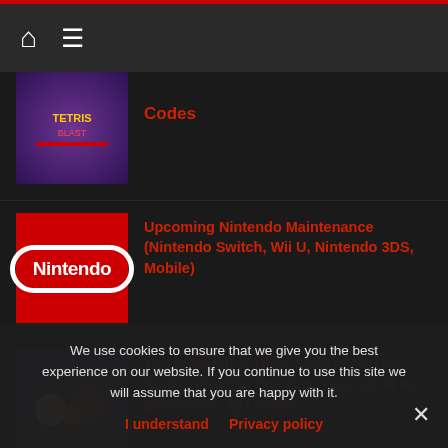Navigation bar with home and menu icons
Codes
Upcoming Nintendo Maintenance (Nintendo Switch, Wii U, Nintendo 3DS, Mobile)
Yo-kai Watch 2: Bony Spirits / Fleshy Souls / Psychic Specters – List of all the passwords, QR Codes
We use cookies to ensure that we give you the best experience on our website. If you continue to use this site we will assume that you are happy with it.
I understand   Privacy policy